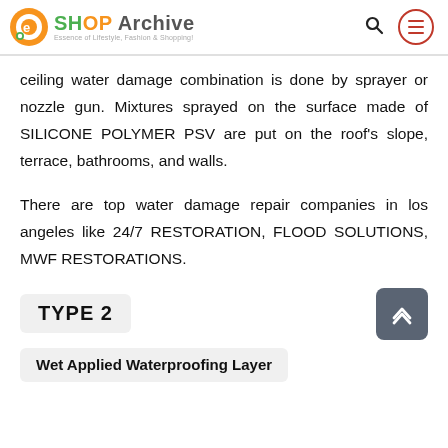SHOP Archive — Essence of Lifestyle, Fashion & Shopping!
ceiling water damage combination is done by sprayer or nozzle gun. Mixtures sprayed on the surface made of SILICONE POLYMER PSV are put on the roof's slope, terrace, bathrooms, and walls.
There are top water damage repair companies in los angeles like 24/7 RESTORATION, FLOOD SOLUTIONS, MWF RESTORATIONS.
TYPE 2
Wet Applied Waterproofing Layer